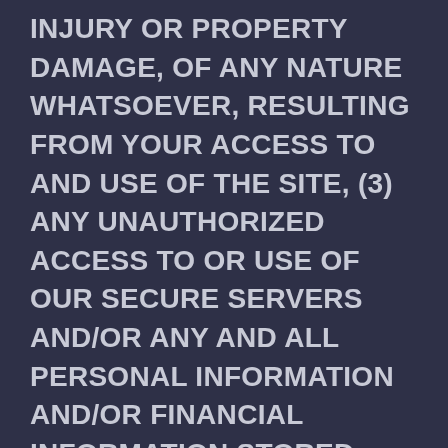INJURY OR PROPERTY DAMAGE, OF ANY NATURE WHATSOEVER, RESULTING FROM YOUR ACCESS TO AND USE OF THE SITE, (3) ANY UNAUTHORIZED ACCESS TO OR USE OF OUR SECURE SERVERS AND/OR ANY AND ALL PERSONAL INFORMATION AND/OR FINANCIAL INFORMATION STORED THEREIN, (4) ANY INTERRUPTION OR CESSATION OF TRANSMISSION TO OR FROM THE SITE, (5) ANY BUGS, VIRUSES, TROJAN HORSES, OR THE LIKE WHICH MAY BE TRANSMITTED TO OR THROUGH THE SITE BY ANY THIRD PARTY, AND/OR (6) ANY ERRORS OR OMISSIONS IN ANY